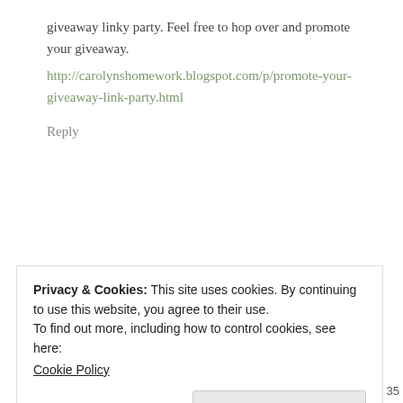giveaway linky party. Feel free to hop over and promote your giveaway.
http://carolynshomework.blogspot.com/p/promote-your-giveaway-link-party.html
Reply
[Figure (illustration): Blue geometric avatar/logo made of angular shapes]
jara christensen says
MAY 29, 2012 AT 3:14 PM
Privacy & Cookies: This site uses cookies. By continuing to use this website, you agree to their use.
To find out more, including how to control cookies, see here:
Cookie Policy
Close and accept